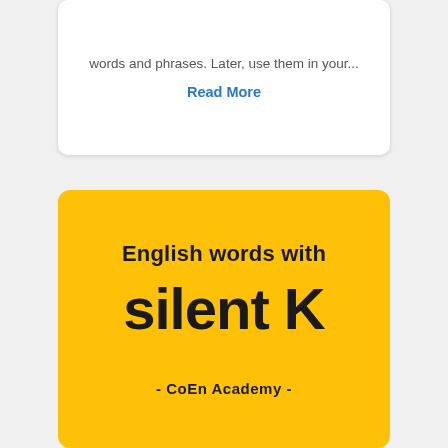words and phrases. Later, use them in your...
Read More
[Figure (illustration): Yellow card graphic with bold text reading 'English words with silent K' and subtitle '- CoEn Academy -' on a bright yellow background]